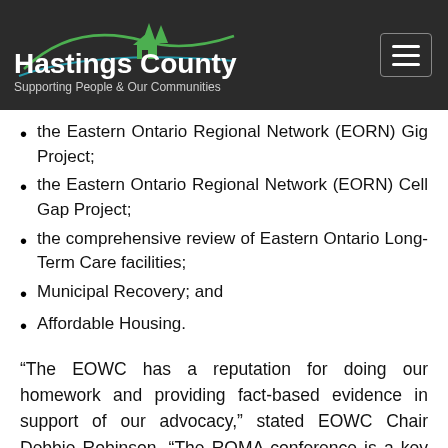Hastings County — Supporting People & Our Communities
the Eastern Ontario Regional Network (EORN) Gig Project;
the Eastern Ontario Regional Network (EORN) Cell Gap Project;
the comprehensive review of Eastern Ontario Long-Term Care facilities;
Municipal Recovery; and
Affordable Housing.
“The EOWC has a reputation for doing our homework and providing fact-based evidence in support of our advocacy,” stated EOWC Chair Debbie Robinson. “The ROMA conference is a key moment for the Caucus, as we have the opportunity to connect directly with